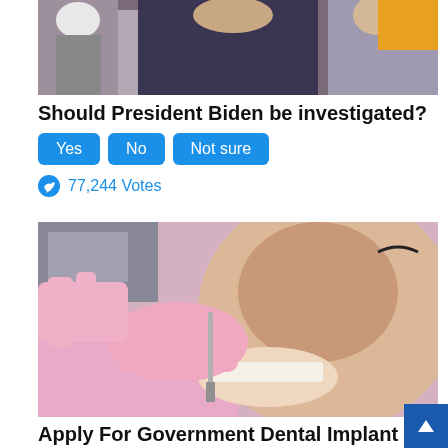[Figure (photo): Close-up photo of a man smiling in a crowd, with other people visible in the background]
Should President Biden be investigated?
Yes   No   Not sure
77,244 Votes
[Figure (photo): Close-up photo of a woman smiling while a dental professional in pink gloves examines her teeth with a dental tool]
Apply For Government Dental Implant